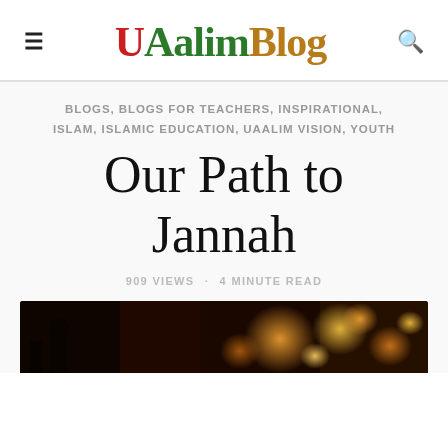UAalimBlog
BLOGS, BLOGS FOR TEACHERS, INSPIRATIONAL, ISLAM, ISLAMIC EDUCATION, UAALIM VISION, YOUTH
Our Path to Jannah
909 VIEWS · 4 MINUTE READ
[Figure (photo): Bokeh lights photo with dark background showing warm orange and yellow circular light blurs]